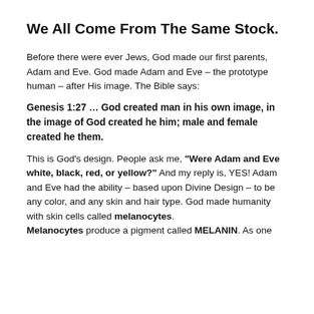We All Come From The Same Stock.
Before there were ever Jews, God made our first parents, Adam and Eve. God made Adam and Eve – the prototype human – after His image. The Bible says:
Genesis 1:27 … God created man in his own image, in the image of God created he him; male and female created he them.
This is God's design. People ask me, "Were Adam and Eve white, black, red, or yellow?" And my reply is, YES! Adam and Eve had the ability – based upon Divine Design – to be any color, and any skin and hair type. God made humanity with skin cells called melanocytes. Melanocytes produce a pigment called MELANIN. As one